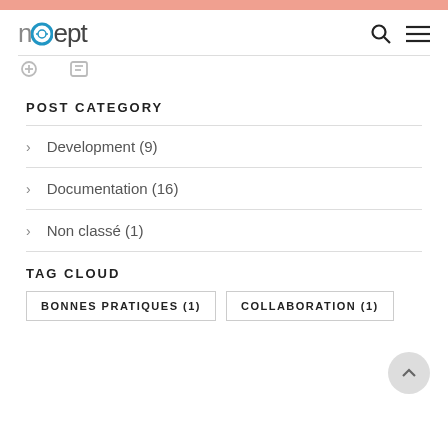noept
POST CATEGORY
> Development (9)
> Documentation (16)
> Non classé (1)
TAG CLOUD
BONNES PRATIQUES (1)
COLLABORATION (1)